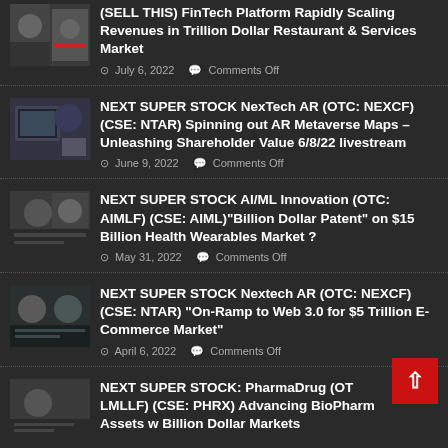NEXT SUPER STOCK FinTech Platform Rapidly Scaling Revenues in Trillion Dollar Restaurant & Services Market · July 6, 2022 · Comments Off
NEXT SUPER STOCK NexTech AR (OTC: NEXCF) (CSE: NTAR) Spinning out AR Metaverse Maps – Unleashing Shareholder Value 6/8/22 livestream · June 9, 2022 · Comments Off
NEXT SUPER STOCK AI/ML Innovation (OTC: AIMLF) (CSE: AIML)“Billion Dollar Patent” on $15 Billion Health Wearables Market ? · May 31, 2022 · Comments Off
NEXT SUPER STOCK Nextech AR (OTC: NEXCF) (CSE: NTAR) “On-Ramp to Web 3.0 for $5 Trillion E-Commerce Market” · April 6, 2022 · Comments Off
NEXT SUPER STOCK: PharmaDrug (OTC: LMLLF) (CSE: PHRX) Advancing BioPharm Assets w Billion Dollar Markets